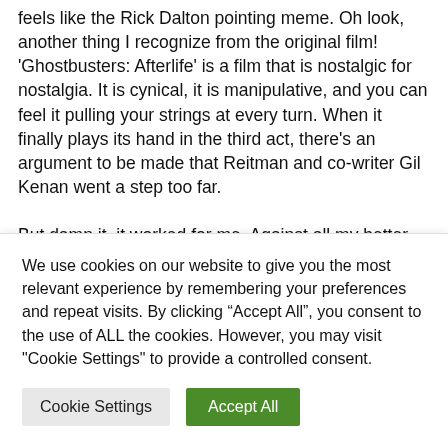feels like the Rick Dalton pointing meme. Oh look, another thing I recognize from the original film! 'Ghostbusters: Afterlife' is a film that is nostalgic for nostalgia. It is cynical, it is manipulative, and you can feel it pulling your strings at every turn. When it finally plays its hand in the third act, there's an argument to be made that Reitman and co-writer Gil Kenan went a step too far.
But damn it, it worked for me. Against all my better judgement, I really liked it. I knew it was slick and
We use cookies on our website to give you the most relevant experience by remembering your preferences and repeat visits. By clicking "Accept All", you consent to the use of ALL the cookies. However, you may visit "Cookie Settings" to provide a controlled consent.